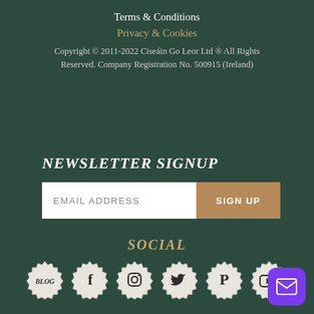Terms & Conditions
Privacy & Cookies
Copyright © 2011-2022 Ciseáin Go Leor Ltd ® All Rights Reserved. Company Registration No. 500915 (Ireland)
NEWSLETTER SIGNUP
EMAIL ADDRESS
SIGN UP
SOCIAL
[Figure (illustration): Six social media badge icons: BLOG, Facebook, Instagram, Twitter, Pinterest, YouTube]
[Figure (illustration): Purple mail button in bottom right corner]